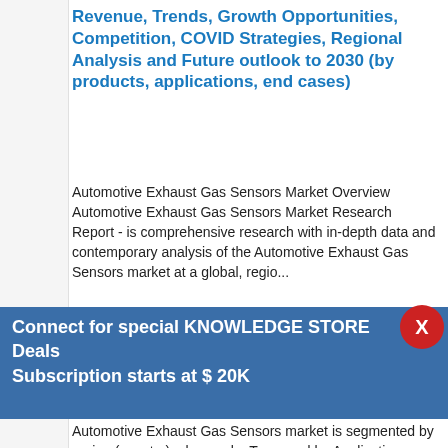Revenue, Trends, Growth Opportunities, Competition, COVID Strategies, Regional Analysis and Future outlook to 2030 (by products, applications, end cases)
Automotive Exhaust Gas Sensors Market Overview Automotive Exhaust Gas Sensors Market Research Report - is comprehensive research with in-depth data and contemporary analysis of the Automotive Exhaust Gas Sensors market at a global, regio...
Connect for special KNOWLEDGE STORE Deals Subscription starts at $ 20K
Automotive Exhaust Gas Sensors market is segmented by region (country), players, by Type, and by Application. Players, stakeholders, and other participants in the global Automotive
Request For Sample Of This Report
Buy Any Report Avail 20% Code:
Leave a message